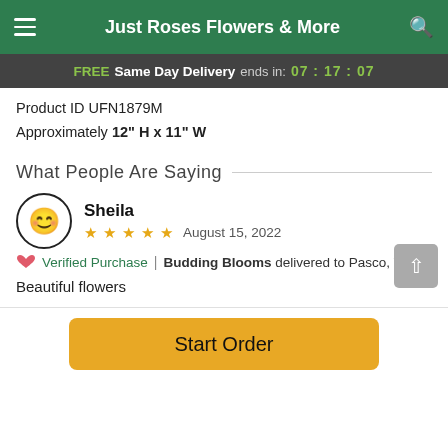Just Roses Flowers & More
FREE Same Day Delivery ends in: 07:17:07
Product ID UFN1879M
Approximately 12" H x 11" W
What People Are Saying
Sheila
★ ★ ★ ★ ★  August 15, 2022
🤍 Verified Purchase | Budding Blooms delivered to Pasco, WA
Beautiful flowers
Start Order